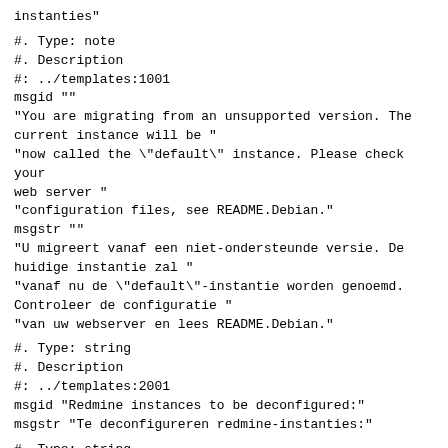instanties"
#. Type: note
#. Description
#: ../templates:1001
msgid ""
"You are migrating from an unsupported version. The current instance will be "
"now called the \"default\" instance. Please check your web server "
"configuration files, see README.Debian."
msgstr ""
"U migreert vanaf een niet-ondersteunde versie. De huidige instantie zal "
"vanaf nu de \"default\"-instantie worden genoemd. Controleer de configuratie "
"van uw webserver en lees README.Debian."
#. Type: string
#. Description
#: ../templates:2001
msgid "Redmine instances to be deconfigured:"
msgstr "Te deconfigureren redmine-instanties:"
#. Type: string
#. Description
#: ../templates:2001
msgid "Configuration files for these instances will be removed."
msgstr "Configuratiebestanden van deze instanties